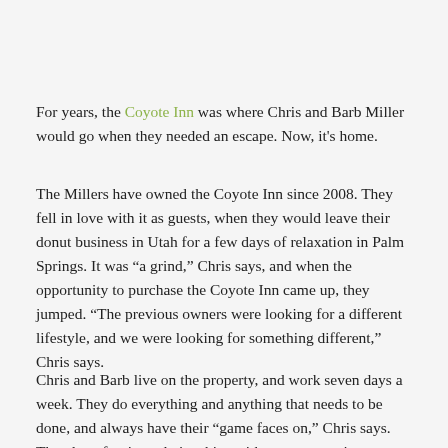For years, the Coyote Inn was where Chris and Barb Miller would go when they needed an escape. Now, it's home.
The Millers have owned the Coyote Inn since 2008. They fell in love with it as guests, when they would leave their donut business in Utah for a few days of relaxation in Palm Springs. It was “a grind,” Chris says, and when the opportunity to purchase the Coyote Inn came up, they jumped. “The previous owners were looking for a different lifestyle, and we were looking for something different,” Chris says.
Chris and Barb live on the property, and work seven days a week. They do everything and anything that needs to be done, and always have their “game faces on,” Chris says. They love forging relationships with guests, greeting new faces and welcoming back regulars.
“We meet a lot of interesting people,” Chris says. “When people